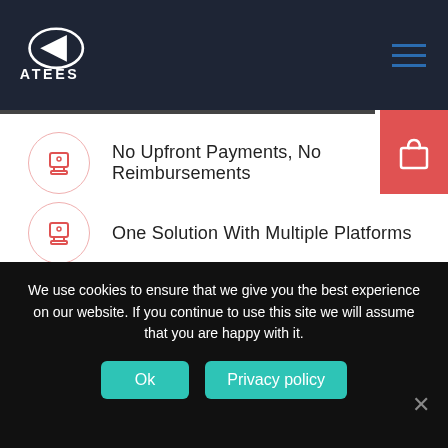ATEES
No Upfront Payments, No Reimbursements
One Solution With Multiple Platforms
Pay monthly S$ 250 in instalments of 5 months
We use cookies to ensure that we give you the best experience on our website. If you continue to use this site we will assume that you are happy with it.